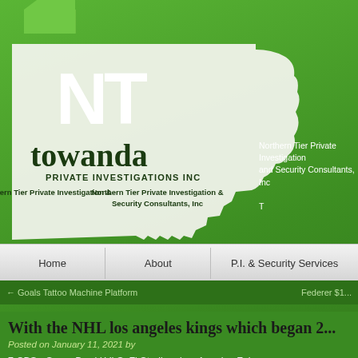[Figure (logo): NT Towanda Private Investigations Inc logo on green Pennsylvania state shape background with arrow tab. White NT letters, dark towanda text, PRIVATE INVESTIGATIONS INC subtitle, Northern Tier Private Investigation & Security Consultants, Inc tagline.]
Northern Tier Private Investigation and Security Consultants, Inc
T
[Figure (screenshot): Navigation bar with links: Home, About, P.I. & Security Services]
← Goals Tattoo Machine Platform
Federer $1...
With the NHL los angeles kings which began 2...
Posted on January 11, 2021 by
7 CBS • Super Bowl LVI SoFi Stadium Los Angeles Feb.
We would go through these teaching videos to ensure each player had a good idea o...